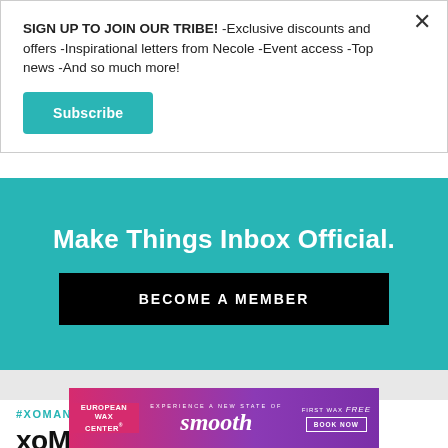SIGN UP TO JOIN OUR TRIBE! -Exclusive discounts and offers -Inspirational letters from Necole -Event access -Top news -And so much more!
Subscribe
Make Things Inbox Official.
BECOME A MEMBER
#XOMAN
xoMan: Actor J. Alphonse
[Figure (infographic): European Wax Center advertisement banner with purple-pink gradient background, showing 'EXPERIENCE A NEW STATE OF smooth' text with 'FIRST WAX free BOOK NOW' button on the right]